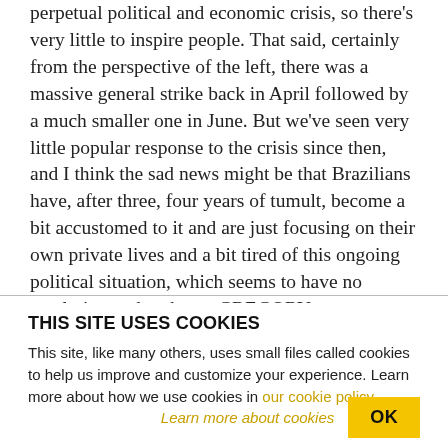perpetual political and economic crisis, so there's very little to inspire people. That said, certainly from the perspective of the left, there was a massive general strike back in April followed by a much smaller one in June. But we've seen very little popular response to the crisis since then, and I think the sad news might be that Brazilians have, after three, four years of tumult, become a bit accustomed to it and are just focusing on their own private lives and a bit tired of this ongoing political situation, which seems to have no resolution and no hope. GREGORY
THIS SITE USES COOKIES
This site, like many others, uses small files called cookies to help us improve and customize your experience. Learn more about how we use cookies in our cookie policy.
Learn more about cookies